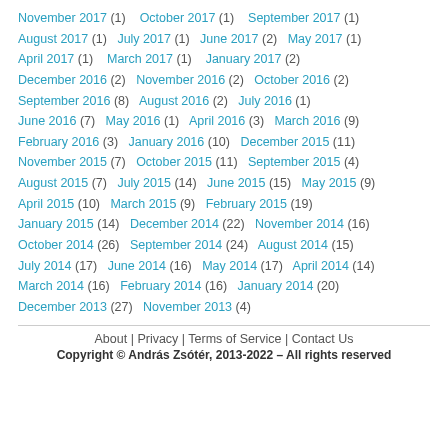November 2017 (1)   October 2017 (1)   September 2017 (1)
August 2017 (1)   July 2017 (1)   June 2017 (2)   May 2017 (1)
April 2017 (1)   March 2017 (1)   January 2017 (2)
December 2016 (2)   November 2016 (2)   October 2016 (2)
September 2016 (8)   August 2016 (2)   July 2016 (1)
June 2016 (7)   May 2016 (1)   April 2016 (3)   March 2016 (9)
February 2016 (3)   January 2016 (10)   December 2015 (11)
November 2015 (7)   October 2015 (11)   September 2015 (4)
August 2015 (7)   July 2015 (14)   June 2015 (15)   May 2015 (9)
April 2015 (10)   March 2015 (9)   February 2015 (19)
January 2015 (14)   December 2014 (22)   November 2014 (16)
October 2014 (26)   September 2014 (24)   August 2014 (15)
July 2014 (17)   June 2014 (16)   May 2014 (17)   April 2014 (14)
March 2014 (16)   February 2014 (16)   January 2014 (20)
December 2013 (27)   November 2013 (4)
About | Privacy | Terms of Service | Contact Us
Copyright © András Zsótér, 2013-2022 – All rights reserved